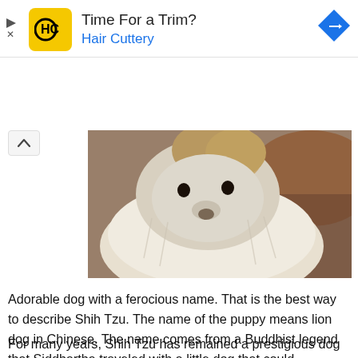[Figure (other): Hair Cuttery advertisement banner with yellow HC logo, text 'Time For a Trim?' and 'Hair Cuttery' in blue, blue diamond arrow icon on right]
[Figure (photo): Close-up photo of a Shih Tzu dog with long white and tan fur, looking downward, blurred brownish background]
Adorable dog with a ferocious name. That is the best way to describe Shih Tzu. The name of the puppy means lion dog in Chinese. The name comes from a Buddhist legend that Siddhartha traveled with a little dog that could transform into a lion. And that is just one among the many Shih Tzu facts we need to talk about.
For many years, Shih Tzu has remained a prestigious dog breed among Chinese royalty.